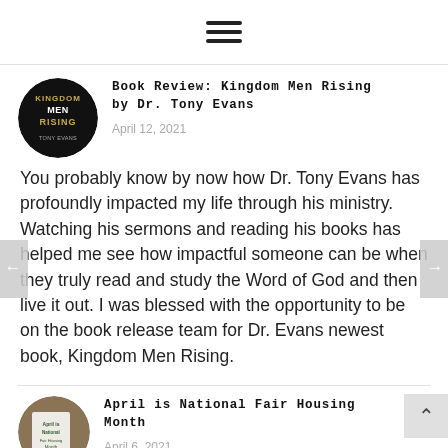☰ (hamburger menu icon)
[Figure (illustration): Circular book cover image for Kingdom Men Rising with gold text on black background]
Book Review: Kingdom Men Rising by Dr. Tony Evans
April 12, 2021
You probably know by now how Dr. Tony Evans has profoundly impacted my life through his ministry. Watching his sermons and reading his books has helped me see how impactful someone can be when they truly read and study the Word of God and then live it out. I was blessed with the opportunity to be on the book release team for Dr. Evans newest book, Kingdom Men Rising.
[Figure (illustration): Circular thumbnail image for April is National Fair Housing Month post]
April is National Fair Housing Month
April 6, 2021
One of the things that I wanted my blog to be in a